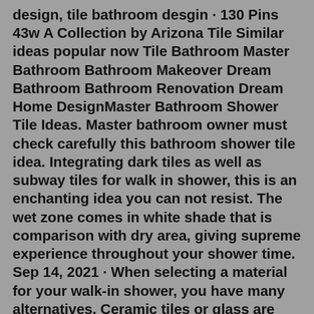design, tile bathroom desgin · 130 Pins 43w A Collection by Arizona Tile Similar ideas popular now Tile Bathroom Master Bathroom Bathroom Makeover Dream Bathroom Bathroom Renovation Dream Home DesignMaster Bathroom Shower Tile Ideas. Master bathroom owner must check carefully this bathroom shower tile idea. Integrating dark tiles as well as subway tiles for walk in shower, this is an enchanting idea you can not resist. The wet zone comes in white shade that is comparison with dry area, giving supreme experience throughout your shower time. Sep 14, 2021 · When selecting a material for your walk-in shower, you have many alternatives. Ceramic tiles or glass are some of the most popular shower wall options since they come in a variety of styles and are easy to maintain. Marble and natural stone also work well, but they can be expensive, so it all depends on your budget. Mar 02, 2020 · Here are some tile ideas that you can check out: 1. Natural Atmosphere. Pebble, natural stone, metamorphic